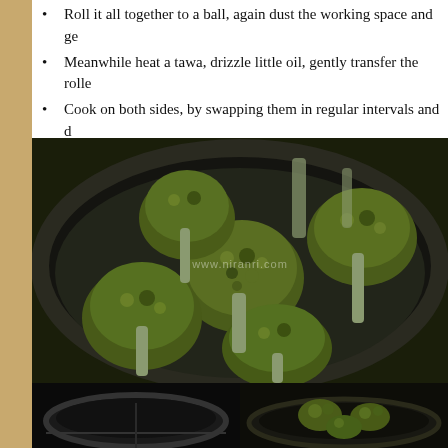Roll it all together to a ball, again dust the working space and ge...
Meanwhile heat a tawa, drizzle little oil, gently transfer the rolle...
Cook on both sides, by swapping them in regular intervals and d... paratha.
Remove it from fire.
[Figure (photo): A large dark bowl filled with fresh broccoli florets, viewed from above. A watermark is visible in the center of the image.]
[Figure (photo): A dark pan or wok on a stovetop, bottom left of pair.]
[Figure (photo): Chopped broccoli being cooked or prepared in a dark pan, bottom right of pair.]